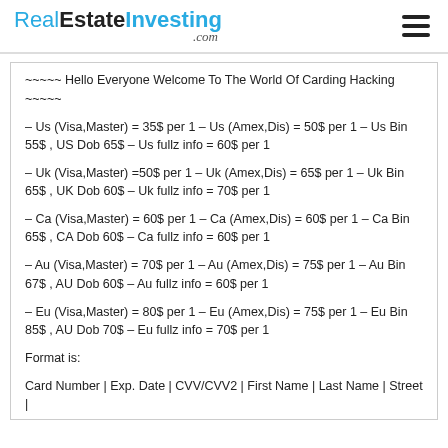RealEstateInvesting.com
~~~~~ Hello Everyone Welcome To The World Of Carding Hacking ~~~~~
– Us (Visa,Master) = 35$ per 1 – Us (Amex,Dis) = 50$ per 1 – Us Bin 55$ , US Dob 65$ – Us fullz info = 60$ per 1
– Uk (Visa,Master) =50$ per 1 – Uk (Amex,Dis) = 65$ per 1 – Uk Bin 65$ , UK Dob 60$ – Uk fullz info = 70$ per 1
– Ca (Visa,Master) = 60$ per 1 – Ca (Amex,Dis) = 60$ per 1 – Ca Bin 65$ , CA Dob 60$ – Ca fullz info = 60$ per 1
– Au (Visa,Master) = 70$ per 1 – Au (Amex,Dis) = 75$ per 1 – Au Bin 67$ , AU Dob 60$ – Au fullz info = 60$ per 1
– Eu (Visa,Master) = 80$ per 1 – Eu (Amex,Dis) = 75$ per 1 – Eu Bin 85$ , AU Dob 70$ – Eu fullz info = 70$ per 1
Format is:
Card Number | Exp. Date | CVV/CVV2 | First Name | Last Name | Street |
City | State | Zip Code | Country | Phone | Type Of Card | Bank Name |